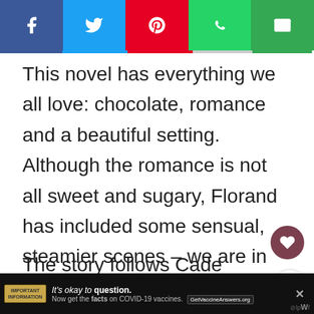[Social share bar: Facebook, Twitter, Pinterest, WhatsApp, Email]
This novel has everything we all love: chocolate, romance and a beautiful setting. Although the romance is not all sweet and sugary, Florand has included some sensual, steamier scenes – we are in Paris after all!
The story follows Cade Corey, heir to a chocolate dynasty, and her dream to e[xpand]...
[Figure (other): Heart/like button (dark red circle with heart icon) and share button]
It's okay to question. Now get the facts on COVID-19 vaccines. GetVaccineAnswers.org